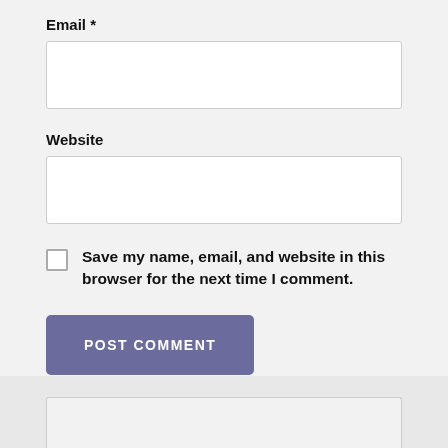Email *
[Figure (screenshot): Empty text input field for Email]
Website
[Figure (screenshot): Empty text input field for Website]
Save my name, email, and website in this browser for the next time I comment.
[Figure (screenshot): POST COMMENT button in muted purple/slate color]
[Figure (screenshot): Partial search/input box at the bottom of the page]